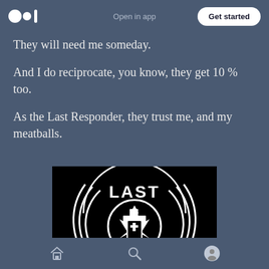Medium logo | Open in app | Get started
They will need me someday.
And I do reciprocate, you know, they get 10 % too.
As the Last Responder, they trust me, and my meatballs.
[Figure (logo): Black circular logo with the word LAST at the top and a Star of Life symbol in the center containing a coffin with a cross]
Home | Search | Profile